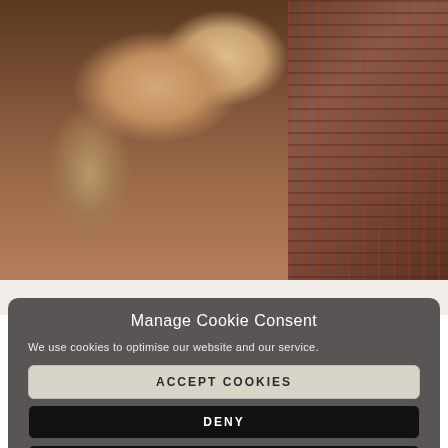[Figure (photo): Close-up photo of a hand with a gold ring touching dark hair, with a colorful patterned fabric/blanket visible in the top right corner.]
Manage Cookie Consent
We use cookies to optimise our website and our service.
ACCEPT COOKIES
DENY
VIEW PREFERENCES